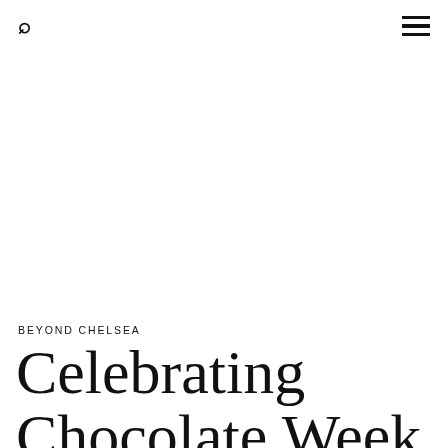🔍  ☰
BEYOND CHELSEA
Celebrating Chocolate Week 2018